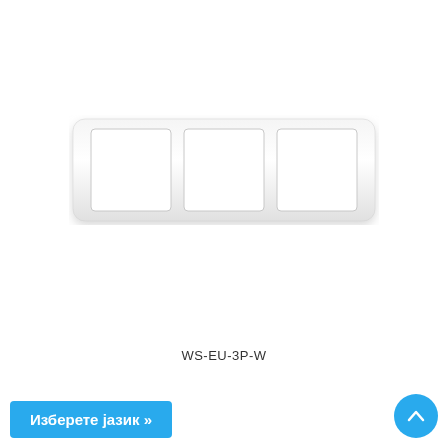[Figure (illustration): A white triple wall plate / switch frame with three rectangular openings, viewed from the front. The frame is wide, horizontal, with rounded corners and a slight 3D/shadow effect.]
WS-EU-3P-W
Изберете јазик »